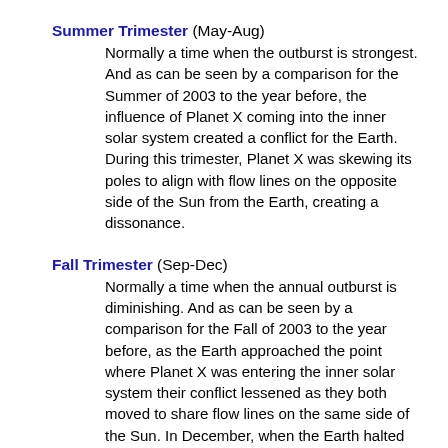Summer Trimester (May-Aug)
Normally a time when the outburst is strongest. And as can be seen by a comparison for the Summer of 2003 to the year before, the influence of Planet X coming into the inner solar system created a conflict for the Earth. During this trimester, Planet X was skewing its poles to align with flow lines on the opposite side of the Sun from the Earth, creating a dissonance.
Fall Trimester (Sep-Dec)
Normally a time when the annual outburst is diminishing. And as can be seen by a comparison for the Fall of 2003 to the year before, as the Earth approached the point where Planet X was entering the inner solar system their conflict lessened as they both moved to share flow lines on the same side of the Sun. In December, when the Earth halted in front of the approaching Planet X, in fact almost striking a chord.
Spring Trimester (Jan-Apr)